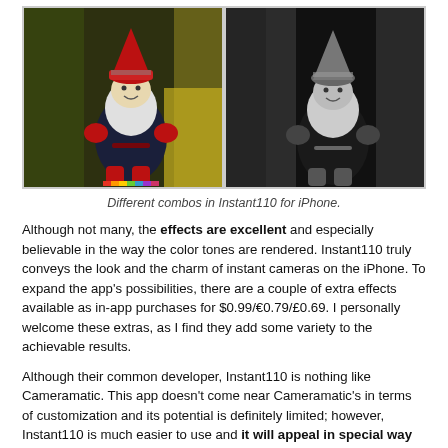[Figure (photo): Two side-by-side photos of a gnome/elf stuffed toy: left photo is color (warm tones, red hat, red boots, dark body with green background), right photo is black and white version of same subject. Represents different filter combos in Instant110 app.]
Different combos in Instant110 for iPhone.
Although not many, the effects are excellent and especially believable in the way the color tones are rendered. Instant110 truly conveys the look and the charm of instant cameras on the iPhone. To expand the app's possibilities, there are a couple of extra effects available as in-app purchases for $0.99/€0.79/£0.69. I personally welcome these extras, as I find they add some variety to the achievable results.
Although their common developer, Instant110 is nothing like Cameramatic. This app doesn't come near Cameramatic's in terms of customization and its potential is definitely limited; however, Instant110 is much easier to use and it will appeal in special way to those that don't want to give up final quality in favor of simplicity.
Overall